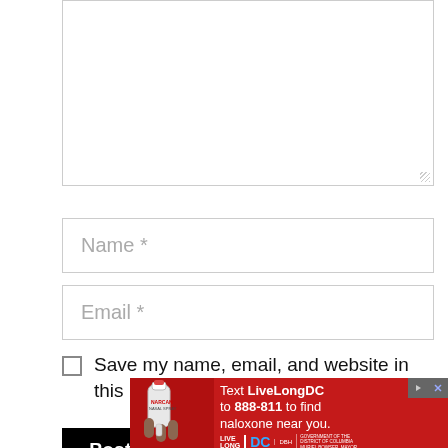[Figure (screenshot): Textarea input box (comment field), empty with resize handle at bottom right]
Name *
Email *
Save my name, email, and website in this browser for the next time I comment.
Post Comment
[Figure (infographic): Red advertisement banner: Text LiveLongDC to 888-811 to find naloxone near you. Features image of hand holding NARCAN nasal spray, Live Long DC logo, DBH logo, Government of the District of Columbia / Muriel Bowser Mayor logo. Icons for play and close in top right.]